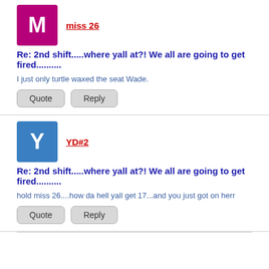[Figure (other): Purple avatar with letter M]
miss 26
Re: 2nd shift.....where yall at?! We all are going to get fired..........
I just only turtle waxed the seat Wade.
Quote   Reply
[Figure (other): Blue avatar with letter Y]
YD#2
Re: 2nd shift.....where yall at?! We all are going to get fired..........
hold miss 26....how da hell yall get 17...and you just got on herr
Quote   Reply